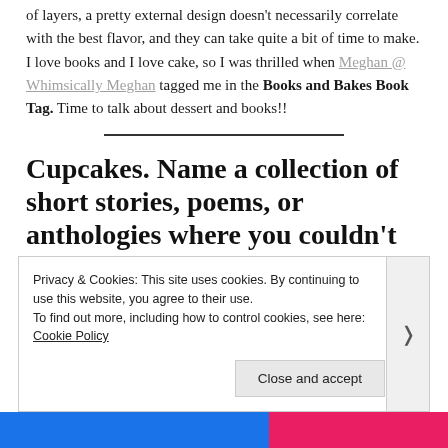of layers, a pretty external design doesn't necessarily correlate with the best flavor, and they can take quite a bit of time to make. I love books and I love cake, so I was thrilled when Meghan @ Whimsically Meghan tagged me in the Books and Bakes Book Tag. Time to talk about dessert and books!!
Cupcakes. Name a collection of short stories, poems, or anthologies where you couldn't read just one section and had to
Privacy & Cookies: This site uses cookies. By continuing to use this website, you agree to their use.
To find out more, including how to control cookies, see here: Cookie Policy